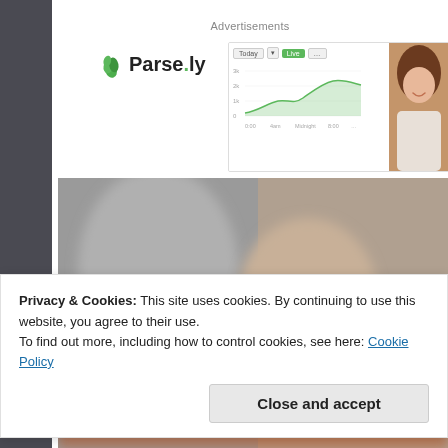Advertisements
[Figure (logo): Parse.ly logo with green leaf icon and bold text 'Parse.ly']
[Figure (screenshot): Parse.ly analytics dashboard screenshot showing a line chart with green area fill, and a person smiling on the right side]
[Figure (photo): Blurred close-up photo of what appears to be seats or upholstery in muted gray and orange tones]
Privacy & Cookies: This site uses cookies. By continuing to use this website, you agree to their use.
To find out more, including how to control cookies, see here: Cookie Policy